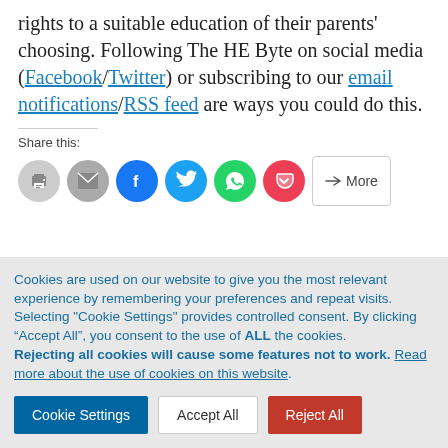rights to a suitable education of their parents' choosing. Following The HE Byte on social media (Facebook/Twitter) or subscribing to our email notifications/RSS feed are ways you could do this.
Share this:
[Figure (other): Row of social share buttons: print, email, Facebook, Twitter, WhatsApp, Pocket, and a More button]
Cookies are used on our website to give you the most relevant experience by remembering your preferences and repeat visits. Selecting "Cookie Settings" provides controlled consent. By clicking “Accept All”, you consent to the use of ALL the cookies. Rejecting all cookies will cause some features not to work. Read more about the use of cookies on this website.
Cookie Settings | Accept All | Reject All